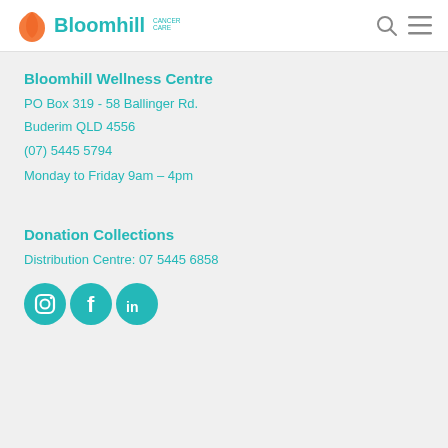Bloomhill Cancer Care
Bloomhill Wellness Centre
PO Box 319 - 58 Ballinger Rd.
Buderim QLD 4556
(07) 5445 5794
Monday to Friday 9am – 4pm
Donation Collections
Distribution Centre: 07 5445 6858
[Figure (logo): Social media icons: Instagram, Facebook, LinkedIn in teal circles]